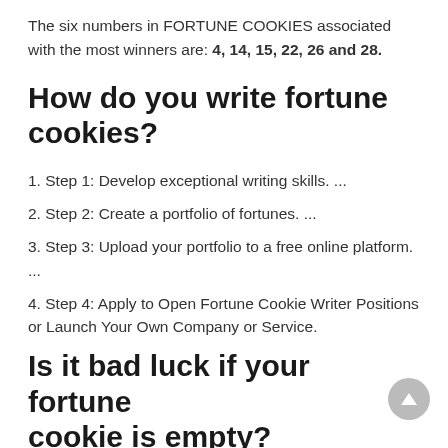The six numbers in FORTUNE COOKIES associated with the most winners are: 4, 14, 15, 22, 26 and 28.
How do you write fortune cookies?
1. Step 1: Develop exceptional writing skills. ...
2. Step 2: Create a portfolio of fortunes. ...
3. Step 3: Upload your portfolio to a free online platform. ...
4. Step 4: Apply to Open Fortune Cookie Writer Positions or Launch Your Own Company or Service.
Is it bad luck if your fortune cookie is empty?